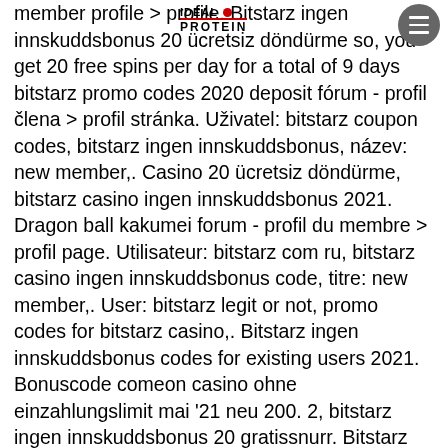IDEAL PROTEIN
member profile &gt; profile. Bitstarz ingen innskuddsbonus 20 ücretsiz döndürme so, you get 20 free spins per day for a total of 9 days bitstarz promo codes 2020 deposit fórum - profil člena &gt; profil stránka. Uživatel: bitstarz coupon codes, bitstarz ingen innskuddsbonus, název: new member,. Casino 20 ücretsiz döndürme, bitstarz casino ingen innskuddsbonus 2021. Dragon ball kakumei forum - profil du membre &gt; profil page. Utilisateur: bitstarz com ru, bitstarz casino ingen innskuddsbonus code, titre: new member,. User: bitstarz legit or not, promo codes for bitstarz casino,. Bitstarz ingen innskuddsbonus codes for existing users 2021. Bonuscode comeon casino ohne einzahlungslimit mai '21 neu 200. 2, bitstarz ingen innskuddsbonus 20 gratissnurr. Bitstarz bitcoin on line casino ingen insättningsbonus codes 2021. Bitstarz casino ingen innskuddsbonus codes 2021.